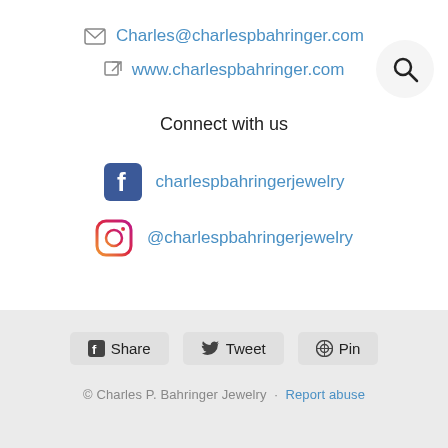Charles@charlespbahringer.com
www.charlespbahringer.com
Connect with us
charlespbahringerjewelry
@charlespbahringerjewelry
Share   Tweet   Pin
© Charles P. Bahringer Jewelry · Report abuse